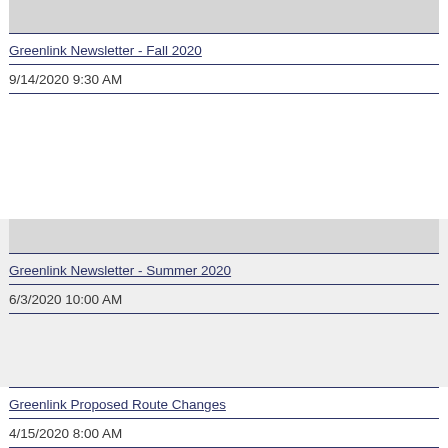[Figure (other): Thumbnail/preview image area, light gray, top of page]
Greenlink Newsletter - Fall 2020
9/14/2020 9:30 AM
Greenlink Newsletter - Summer 2020
6/3/2020 10:00 AM
[Figure (other): Thumbnail/preview image area, gray, middle section]
Greenlink Proposed Route Changes
4/15/2020 8:00 AM